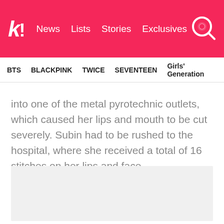k! News Lists Stories Exclusives
BTS BLACKPINK TWICE SEVENTEEN Girls' Generation
into one of the metal pyrotechnic outlets, which caused her lips and mouth to be cut severely. Subin had to be rushed to the hospital, where she received a total of 16 stitches on her lips and face.
[Figure (photo): Gray placeholder image block]